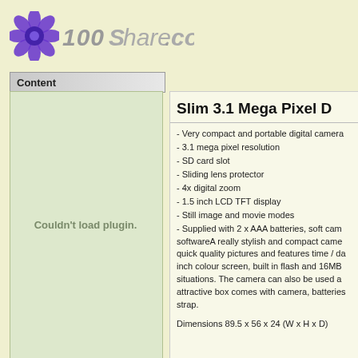100Share.com
Content
[Figure (other): Couldn't load plugin. placeholder panel on left sidebar]
Slim 3.1 Mega Pixel D
- Very compact and portable digital camera
- 3.1 mega pixel resolution
- SD card slot
- Sliding lens protector
- 4x digital zoom
- 1.5 inch LCD TFT display
- Still image and movie modes
- Supplied with 2 x AAA batteries, soft cam softwareA really stylish and compact came quick quality pictures and features time / da inch colour screen, built in flash and 16MB situations. The camera can also be used a attractive box comes with camera, batteries strap.
Dimensions 89.5 x 56 x 24 (W x H x D)